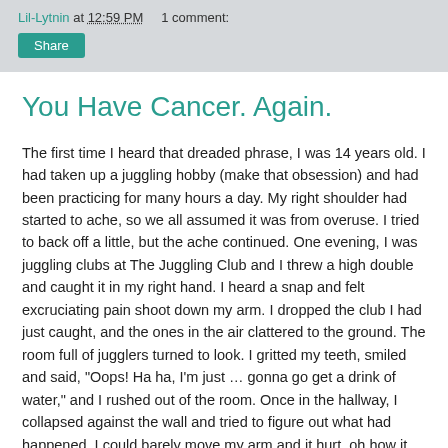Lil-Lytnin at 12:59 PM    1 comment:
You Have Cancer. Again.
The first time I heard that dreaded phrase, I was 14 years old. I had taken up a juggling hobby (make that obsession) and had been practicing for many hours a day. My right shoulder had started to ache, so we all assumed it was from overuse. I tried to back off a little, but the ache continued. One evening, I was juggling clubs at The Juggling Club and I threw a high double and caught it in my right hand. I heard a snap and felt excruciating pain shoot down my arm. I dropped the club I had just caught, and the ones in the air clattered to the ground. The room full of jugglers turned to look. I gritted my teeth, smiled and said, "Oops! Ha ha, I'm just … gonna go get a drink of water," and I rushed out of the room. Once in the hallway, I collapsed against the wall and tried to figure out what had happened. I could barely move my arm and it hurt, oh how it hurt.